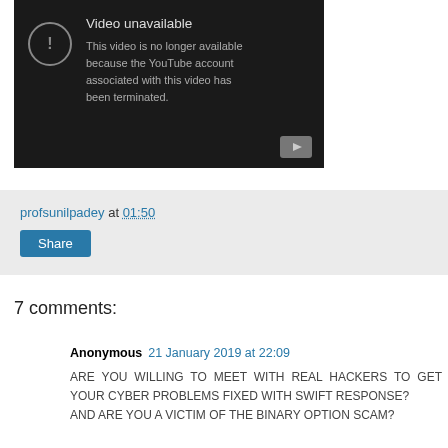[Figure (screenshot): YouTube video unavailable screen with dark background. Shows an exclamation mark in a circle icon on the left, with title 'Video unavailable' and text 'This video is no longer available because the YouTube account associated with this video has been terminated.' A small YouTube play button icon appears in the bottom right corner.]
profsunilpadey at 01:50
Share
7 comments:
Anonymous 21 January 2019 at 22:09
ARE YOU WILLING TO MEET WITH REAL HACKERS TO GET YOUR CYBER PROBLEMS FIXED WITH SWIFT RESPONSE?
AND ARE YOU A VICTIM OF THE BINARY OPTION SCAM?